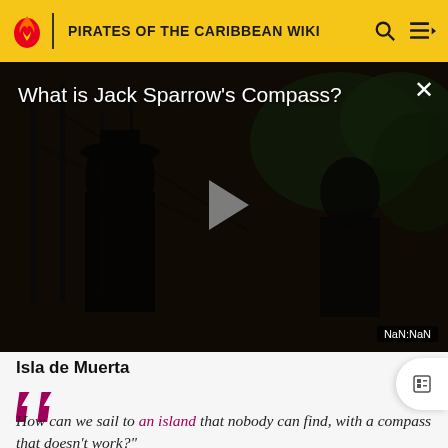PIRATES OF THE CARIBBEAN WIKI
[Figure (screenshot): Video thumbnail showing Jack Sparrow scene with play button. Title reads 'What is Jack Sparrow's Compass?' Timer shows NaN:NaN]
Isla de Muerta
How can we sail to an island that nobody can find, with a compass that doesn't work?"